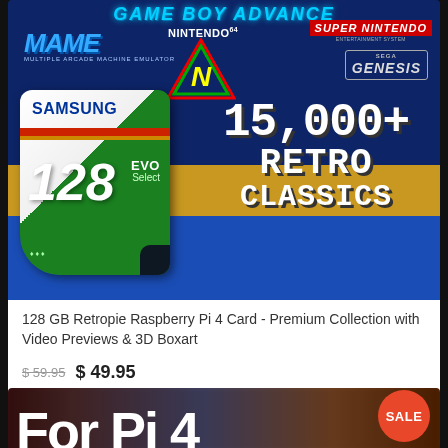[Figure (photo): Product listing image for 128 GB Retropie Raspberry Pi 4 SD Card with gaming logos (Game Boy Advance, MAME, Nintendo 64, Super Nintendo, Sega Genesis) and Samsung 128GB EVO Select microSD card showing 15,000+ Retro Classics]
128 GB Retropie Raspberry Pi 4 Card - Premium Collection with Video Previews & 3D Boxart
$ 59.95  $ 49.95
[Figure (photo): Second product listing image showing blurred gaming content with 'For Pi 4' text overlay and a red SALE badge]